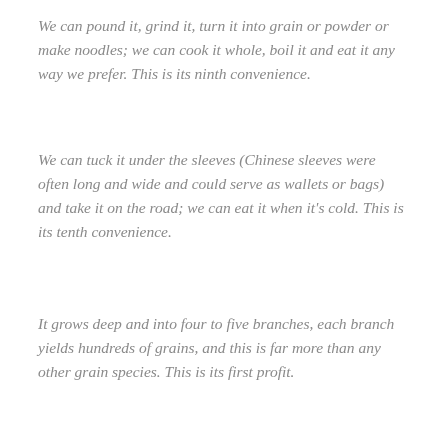We can pound it, grind it, turn it into grain or powder or make noodles; we can cook it whole, boil it and eat it any way we prefer. This is its ninth convenience.
We can tuck it under the sleeves (Chinese sleeves were often long and wide and could serve as wallets or bags) and take it on the road; we can eat it when it's cold. This is its tenth convenience.
It grows deep and into four to five branches, each branch yields hundreds of grains, and this is far more than any other grain species. This is its first profit.